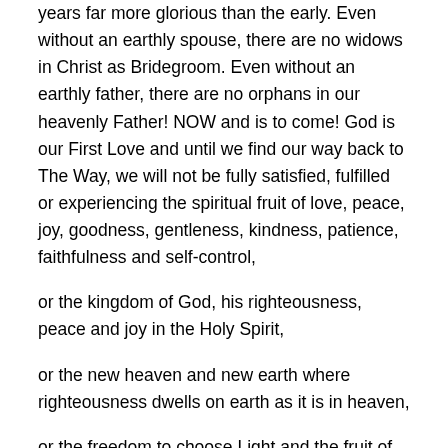years far more glorious than the early. Even without an earthly spouse, there are no widows in Christ as Bridegroom. Even without an earthly father, there are no orphans in our heavenly Father! NOW and is to come! God is our First Love and until we find our way back to The Way, we will not be fully satisfied, fulfilled or experiencing the spiritual fruit of love, peace, joy, goodness, gentleness, kindness, patience, faithfulness and self-control,
or the kingdom of God, his righteousness, peace and joy in the Holy Spirit,
or the new heaven and new earth where righteousness dwells on earth as it is in heaven,
or the freedom to choose Light and the fruit of Light, everything good, true and right!